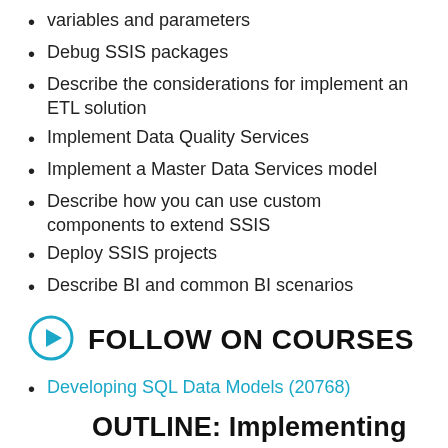variables and parameters
Debug SSIS packages
Describe the considerations for implement an ETL solution
Implement Data Quality Services
Implement a Master Data Services model
Describe how you can use custom components to extend SSIS
Deploy SSIS projects
Describe BI and common BI scenarios
FOLLOW ON COURSES
Developing SQL Data Models (20768)
OUTLINE: Implementing a SQL Data Warehouse (20767)